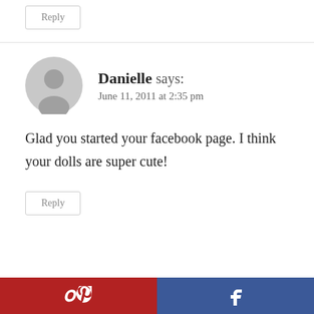Reply
Danielle says:
June 11, 2011 at 2:35 pm
Glad you started your facebook page. I think your dolls are super cute!
Reply